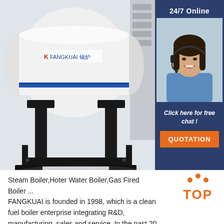FANGKUAI Clean Boiler System Supplier
[Figure (photo): Industrial horizontal steam boiler unit with white cylindrical tank, blue stripe, Chinese text label, mounted on black metal stand/frame support structure. Background shows grey tones.]
[Figure (photo): Customer service agent sidebar: dark blue panel with '24/7 Online' label, photo of smiling young woman with headset wearing blue shirt, 'Click here for free chat!' text, and orange QUOTATION button.]
Steam Boiler,Hoter Water Boiler,Gas Fired Boiler ... FANGKUAI is founded in 1998, which is a clean fuel boiler enterprise integrating R&D, manufacturing, sales and service. In the past 20 years of development and innovation, the company
[Figure (illustration): TOP badge with orange dots arranged in triangle above the word TOP in orange bold text.]